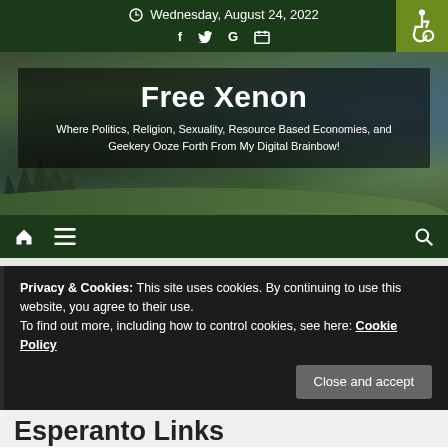Wednesday, August 24, 2022
[Figure (screenshot): Social media icons: Facebook (f), Twitter bird, Google (G), and a calendar/image icon in dark green header bar]
[Figure (photo): Hero banner image showing landscape with mountains and green fields, with dark overlay containing site title and tagline]
Free Xenon
Where Politics, Religion, Sexuality, Resource Based Economies, and Geekery Ooze Forth From My Digital Brainbow!
[Figure (infographic): Dark green navigation bar with home icon, hamburger menu icon on left, and search icon on right. Accessibility wheelchair icon button in green square top-right.]
Privacy & Cookies: This site uses cookies. By continuing to use this website, you agree to their use.
To find out more, including how to control cookies, see here: Cookie Policy
Close and accept
Esperanto Links